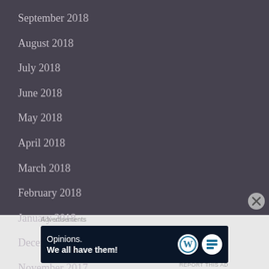September 2018
August 2018
July 2018
June 2018
May 2018
April 2018
March 2018
February 2018
January 2018
December 2017
November 2017
Advertisements
[Figure (other): Advertisement banner with WordPress logo: 'Opinions. We all have them!']